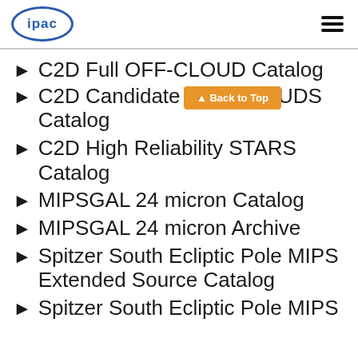ipac
C2D Full OFF-CLOUD Catalog
C2D Candidate YSO CLOUDS Catalog
C2D High Reliability STARS Catalog
MIPSGAL 24 micron Catalog
MIPSGAL 24 micron Archive
Spitzer South Ecliptic Pole MIPS Extended Source Catalog
Spitzer South Ecliptic Pole MIPS